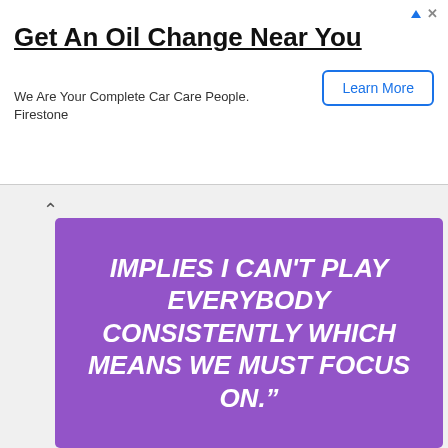[Figure (screenshot): Advertisement banner: 'Get An Oil Change Near You' - We Are Your Complete Car Care People. Firestone. Learn More button.]
[Figure (infographic): Purple square meme image with white bold italic text reading: IMPLIES I CAN'T PLAY EVERYBODY CONSISTENTLY WHICH MEANS WE MUST FOCUS ON."]